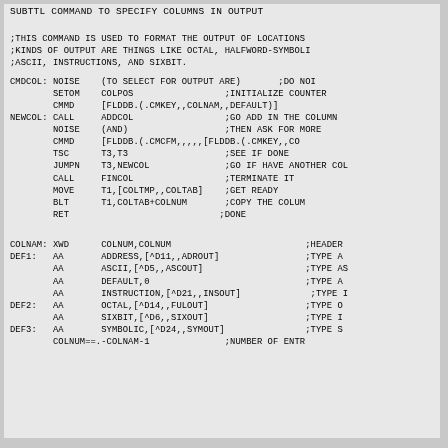SUBTTL  COMMAND TO SPECIFY COLUMNS IN OUTPUT
;THIS COMMAND IS USED TO FORMAT THE OUTPUT OF LOCATIONS
;KINDS OF OUTPUT ARE THINGS LIKE OCTAL, HALFWORD-SYMBOL
;ASCII, INSTRUCTIONS, AND SIXBIT.
CMDCOL: NOISE    (TO SELECT FOR OUTPUT ARE)       ;DO NOI
        SETOM    COLPOS                 ;INITIALIZE COUNTER
        CMMD     [FLDDB.(.CMKEY,,COLNAM,,DEFAULT)]
NEWCOL: CALL     ADDCOL                 ;GO ADD IN THE COLUMN
        NOISE    (AND)                  ;THEN ASK FOR MORE
        CMMD     [FLDDB.(.CMCFM,,,,,[FLDDB.(.CMKEY,,CO
        TSC      T3,T3                  ;SEE IF DONE
        JUMPN    T3,NEWCOL              ;GO IF HAVE ANOTHER COL
        CALL     FINCOL                 ;TERMINATE IT
        MOVE     T1,[COLTMP,,COLTAB]    ;GET READY
        BLT      T1,COLTAB+COLNUM       ;COPY THE COLUM
        RET                            ;DONE
COLNAM: XWD      COLNUM,COLNUM                         ;HEADER
DEF1:   AA       ADDRESS,[^D11,,ADROUT]                ;TYPE A
        AA       ASCII,[^D5,,ASCOUT]                   ;TYPE A
        AA       DEFAULT,0                             ;TYPE A
        AA       INSTRUCTION,[^D21,,INSOUT]             ;TYPE I
DEF2:   AA       OCTAL,[^D14,,FULOUT]                  ;TYPE O
        AA       SIXBIT,[^D6,,SIXOUT]                  ;TYPE I
DEF3:   AA       SYMBOLIC,[^D24,,SYMOUT]               ;TYPE S
        COLNUM==.-COLNAM-1              ;NUMBER OF ENTR